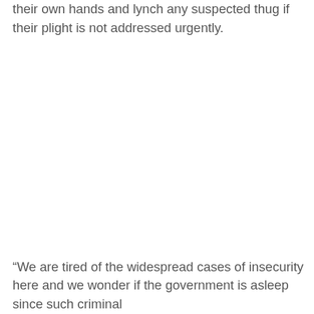their own hands and lynch any suspected thug if their plight is not addressed urgently.
“We are tired of the widespread cases of insecurity here and we wonder if the government is asleep since such criminal